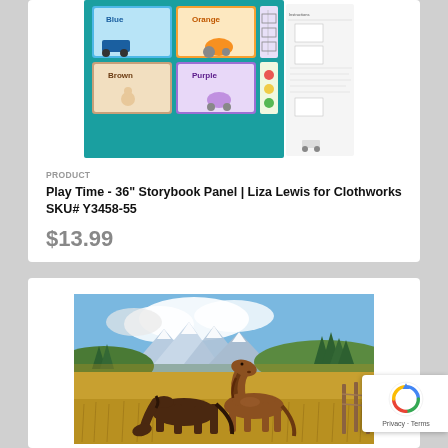[Figure (photo): Play Time 36-inch Storybook Panel fabric showing colorful children's book pages with Blue, Orange, Brown, Purple color-themed illustrations, on teal background, with a white instruction sheet to the right]
PRODUCT
Play Time - 36" Storybook Panel | Liza Lewis for Clothworks SKU# Y3458-55
$13.99
[Figure (photo): Two horses (a dark brown and a lighter brown) standing in an autumn meadow with golden grasses, evergreen trees, and snow-capped mountains in the background under a blue sky with clouds]